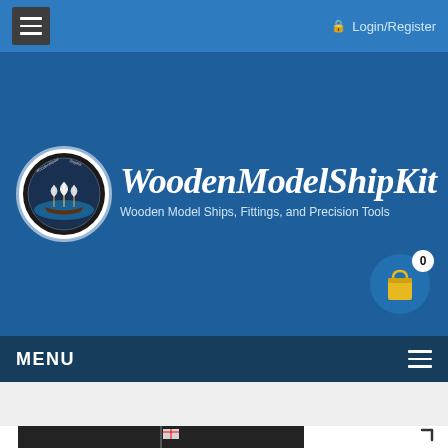☰  Login/Register
[Figure (logo): WoodenModelShipKit circular logo badge with sailing ship illustration and text around the border]
WoodenModelShipKit
Wooden Model Ships, Fittings, and Precision Tools
[Figure (illustration): Shopping cart icon in yellow on a blue circle, with badge showing 0 items]
MENU
[Figure (photo): Dark background product photo showing a model ship flag on a mast]